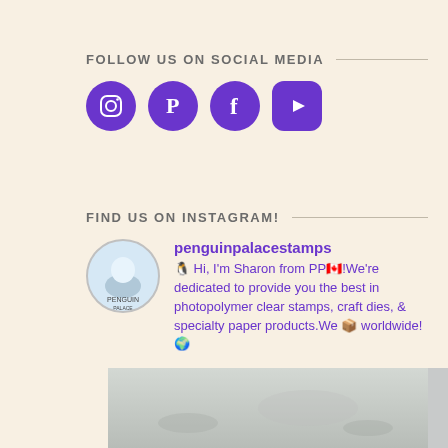FOLLOW US ON SOCIAL MEDIA
[Figure (illustration): Four social media icons: Instagram, Pinterest, Facebook, YouTube in purple]
FIND US ON INSTAGRAM!
[Figure (infographic): Instagram profile card for penguinpalacestamps with avatar and bio text: Hi, I'm Sharon from PP🇨🇦!We're dedicated to provide you the best in photopolymer clear stamps, craft dies, & specialty paper products.We 📦 worldwide!🌍]
[Figure (photo): A grey/white blurry background photo at the bottom of the page]